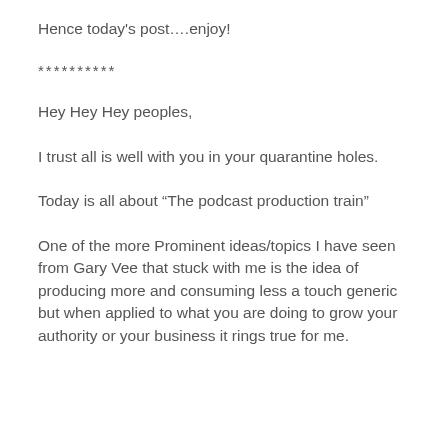Hence today's post….enjoy!
**********
Hey Hey Hey peoples,
I trust all is well with you in your quarantine holes.
Today is all about “The podcast production train”
One of the more Prominent ideas/topics I have seen from Gary Vee that stuck with me is the idea of producing more and consuming less a touch generic but when applied to what you are doing to grow your authority or your business it rings true for me.